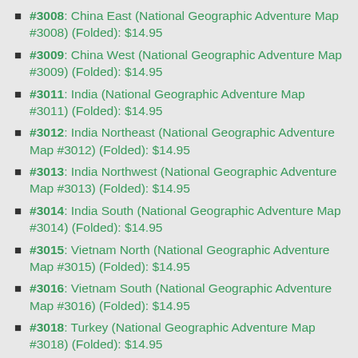#3008: China East (National Geographic Adventure Map #3008) (Folded): $14.95
#3009: China West (National Geographic Adventure Map #3009) (Folded): $14.95
#3011: India (National Geographic Adventure Map #3011) (Folded): $14.95
#3012: India Northeast (National Geographic Adventure Map #3012) (Folded): $14.95
#3013: India Northwest (National Geographic Adventure Map #3013) (Folded): $14.95
#3014: India South (National Geographic Adventure Map #3014) (Folded): $14.95
#3015: Vietnam North (National Geographic Adventure Map #3015) (Folded): $14.95
#3016: Vietnam South (National Geographic Adventure Map #3016) (Folded): $14.95
#3018: Turkey (National Geographic Adventure Map #3018) (Folded): $14.95